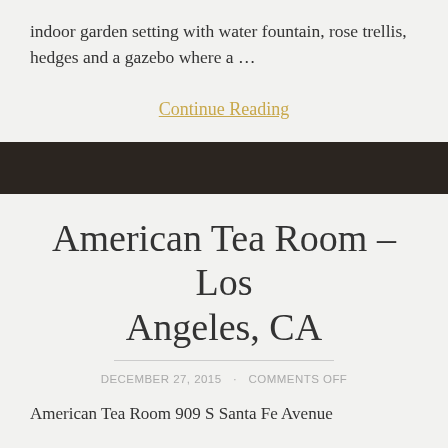indoor garden setting with water fountain, rose trellis, hedges and a gazebo where a …
Continue Reading
[Figure (other): Dark brown/black horizontal banner bar]
American Tea Room – Los Angeles, CA
DECEMBER 27, 2015 · COMMENTS OFF
American Tea Room 909 S Santa Fe Avenue